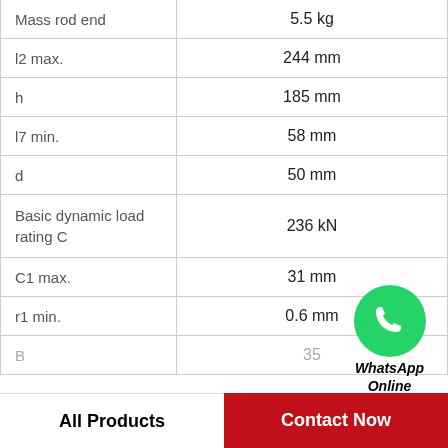| Parameter | Value |
| --- | --- |
| Mass rod end | 5.5 kg |
| l2 max. | 244 mm |
| h | 185 mm |
| l7 min. | 58 mm |
| d | 50 mm |
| Basic dynamic load rating C | 236 kN |
| C1 max. | 31 mm |
| r1 min. | 0.6 mm |
| B | 35 |
[Figure (logo): WhatsApp green icon with phone symbol and text 'WhatsApp Online' in bold italic]
All Products
Contact Now